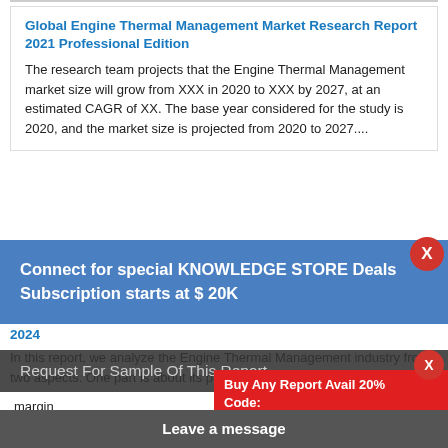Global Engine Thermal Management Market Research Report 2021 Professional Edition
The research team projects that the Engine Thermal Management market size will grow from XXX in 2020 to XXX by 2027, at an estimated CAGR of XX. The base year considered for the study is 2020, and the market size is projected from 2020 to 2027....
[Figure (infographic): Blue promotional banner: Connect for special KNOWLEDGE STORE Deals Subscription starts at $ 20K, with a red X close button]
2024
In this report, we analyze the Engine Thermal Management industry from two aspects. One part is about its production and the other part is
[Figure (infographic): Dark gray banner: Request For Sample Of This Report with red X button, red bar Buy Any Report Avail 20% Code:, and dark Leave a message bar at bottom]